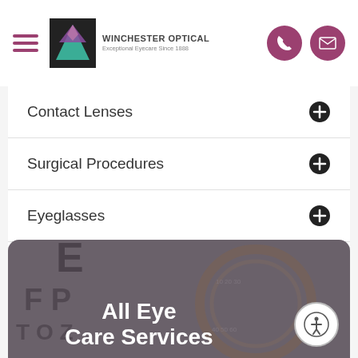Winchester Optical - Exceptional Eyecare Since 1888
Contact Lenses
Surgical Procedures
Eyeglasses
Ocular Disease Management
[Figure (photo): Blurred background image of an eye chart and optometry instruments with text overlay reading 'All Eye Care Services']
All Eye Care Services